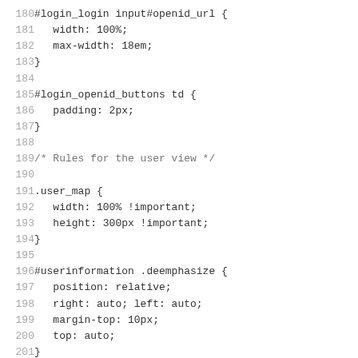[Figure (screenshot): Source code listing showing CSS rules, lines 180-211, covering login and user view styles including #login_login, #login_openid_buttons, .user_map, #userinformation .deemphasize, #user_new_email, and #user_description rules.]